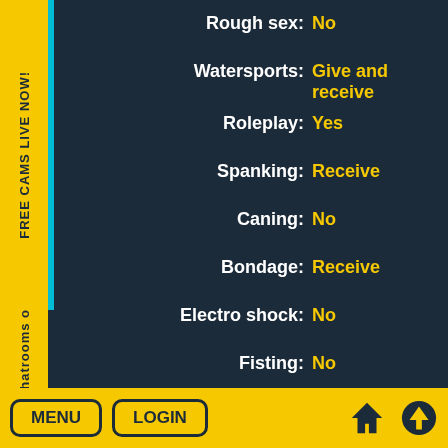FREE CAMS LIVE NOW!
Chatrooms o
Rough sex: No
Watersports: Give and receive
Roleplay: Yes
Spanking: Receive
Caning: No
Bondage: Receive
Electro shock: No
Fisting: No
Sounding: No
Nipple Play: Give and receive
Corporal punishement: No
MENU  LOGIN